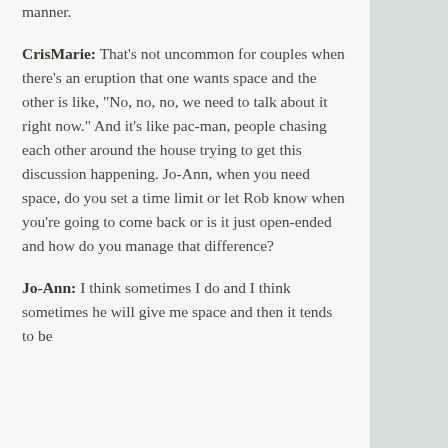manner.
CrisMarie: That's not uncommon for couples when there's an eruption that one wants space and the other is like, "No, no, no, we need to talk about it right now." And it's like pac-man, people chasing each other around the house trying to get this discussion happening. Jo-Ann, when you need space, do you set a time limit or let Rob know when you're going to come back or is it just open-ended and how do you manage that difference?
Jo-Ann: I think sometimes I do and I think sometimes he will give me space and then it tends to be